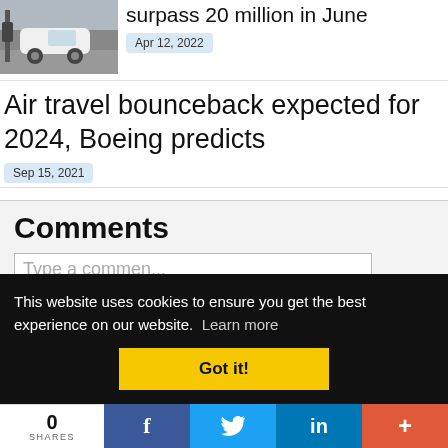[Figure (photo): Thumbnail photo of a white car at a charging station]
surpass 20 million in June
Apr 12, 2022
Air travel bounceback expected for 2024, Boeing predicts
Sep 15, 2021
Comments
This website uses cookies to ensure you get the best experience on our website.  Learn more
Got it!
0
SHARES